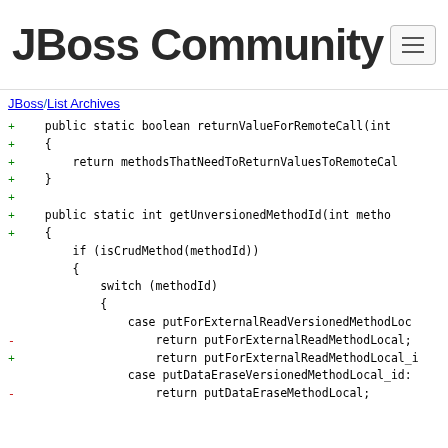JBoss Community
JBoss/List Archives
+ public static boolean returnValueForRemoteCall(int
+ {
+ return methodsThatNeedToReturnValuesToRemoteCal
+ }
+
+ public static int getUnversionedMethodId(int metho
+ {
      if (isCrudMethod(methodId))
      {
          switch (methodId)
          {
              case putForExternalReadVersionedMethodLoc
-                 return putForExternalReadMethodLocal;
+                 return putForExternalReadMethodLocal_i
              case putDataEraseVersionedMethodLocal_id:
-                 return putDataEraseMethodLocal;